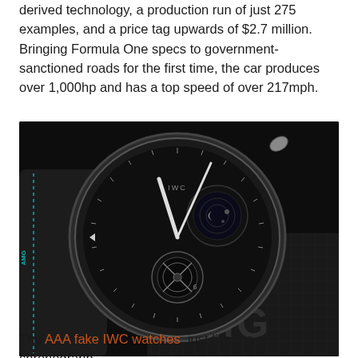derived technology, a production run of just 275 examples, and a price tag upwards of $2.7 million. Bringing Formula One specs to government-sanctioned roads for the first time, the car produces over 1,000hp and has a top speed of over 217mph.
[Figure (photo): Close-up photograph of a luxury IWC tourbillon wristwatch with a dark dial, placed on a carbon fiber surface with AMG branding visible. The watch features a large tourbillon complication at the lower center, a moon phase display, and a subsidiary dial. The black rubber strap has teal stitching and the AMG logo.]
The AAA fake IWC watches, just like the prior chronograph